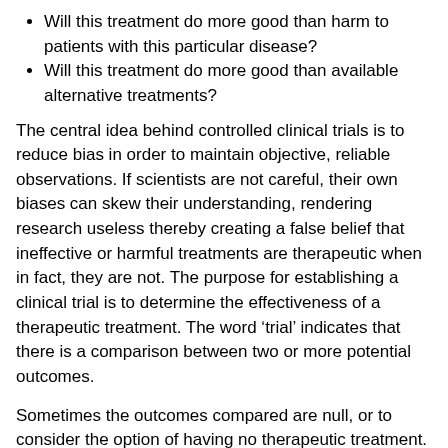Will this treatment do more good than harm to patients with this particular disease?
Will this treatment do more good than available alternative treatments?
The central idea behind controlled clinical trials is to reduce bias in order to maintain objective, reliable observations. If scientists are not careful, their own biases can skew their understanding, rendering research useless thereby creating a false belief that ineffective or harmful treatments are therapeutic when in fact, they are not. The purpose for establishing a clinical trial is to determine the effectiveness of a therapeutic treatment. The word ‘trial’ indicates that there is a comparison between two or more potential outcomes.
Sometimes the outcomes compared are null, or to consider the option of having no therapeutic treatment. At other times, trials may involve comparisons between current and newly developed treatments. In the case of the latter, the goal of the